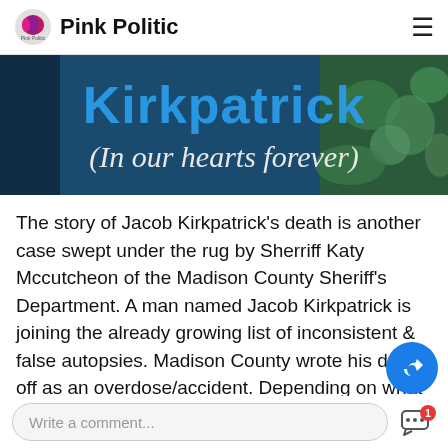Pink Politic
[Figure (photo): Blue memorial sign reading 'Kirkpatrick (In our hearts forever)' with floral decoration]
The story of Jacob Kirkpatrick's death is another case swept under the rug by Sherriff Katy Mccutcheon of the Madison County Sheriff's Department. A man named Jacob Kirkpatrick is joining the already growing list of inconsistent & false autopsies. Madison County wrote his death off as an overdose/accident. Depending on what paragraph you read in the autopsy conclusion report, it could be either. The problem is it was neither. I was ...